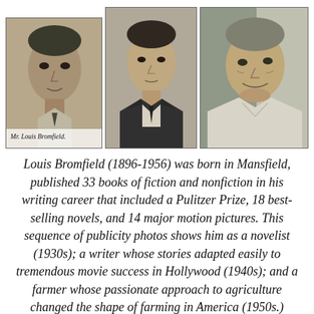[Figure (photo): Three black-and-white publicity photos of Louis Bromfield at different ages: left photo shows a young man (labeled 'Mr. Louis Bromfield.'), center photo shows him as a middle-aged man in a suit with a tie, right photo shows him as an older man in casual shirt, smiling]
Mr. Louis Bromfield.
Louis Bromfield (1896-1956) was born in Mansfield, published 33 books of fiction and nonfiction in his writing career that included a Pulitzer Prize, 18 best-selling novels, and 14 major motion pictures. This sequence of publicity photos shows him as a novelist (1930s); a writer whose stories adapted easily to tremendous movie success in Hollywood (1940s); and a farmer whose passionate approach to agriculture changed the shape of farming in America (1950s.)